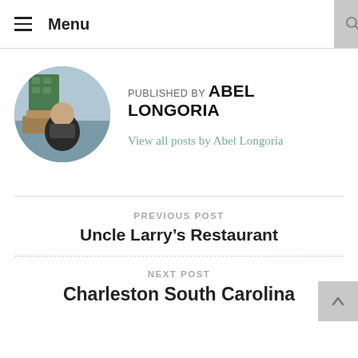Menu
PUBLISHED BY ABEL LONGORIA
View all posts by Abel Longoria
PREVIOUS POST
Uncle Larry's Restaurant
NEXT POST
Charleston South Carolina